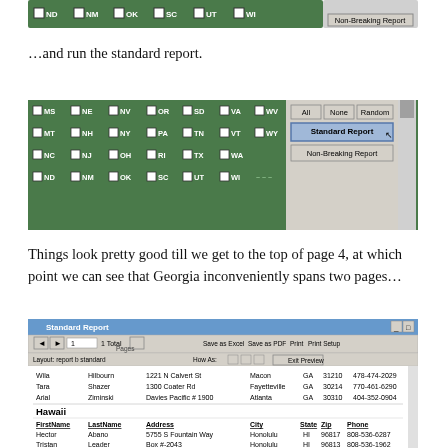[Figure (screenshot): Top portion of a state selector UI showing checkboxes for states ND NM OK SC UT WI with Non-Breaking Report button highlighted]
…and run the standard report.
[Figure (screenshot): State selector UI showing checkboxes for MS NE NV OR SD VA WV / MT NH NY PA TN VT WY / NC NJ OH RI TX WA / ND NM OK SC UT WI with All, None, Random buttons and Standard Report button highlighted, Non-Breaking Report button below]
Things look pretty good till we get to the top of page 4, at which point we can see that Georgia inconveniently spans two pages…
[Figure (screenshot): Standard Report preview window showing a data table with Georgia entries (Wila Hilbourn, Tara Shazer, Arial Ziminski) and Hawaii section header with FirstName LastName Address City State Zip Phone columns and entries Hector Abano and Tristan Leader]